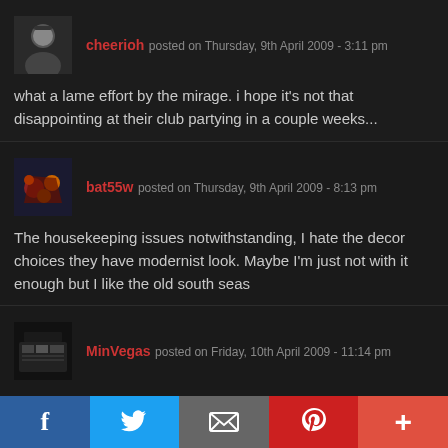cheerioh posted on Thursday, 9th April 2009 - 3:11 pm
what a lame effort by the mirage. i hope it's not that disappointing at their club partying in a couple weeks...
bat55w posted on Thursday, 9th April 2009 - 8:13 pm
The housekeeping issues notwithstanding, I hate the decor choices they have modernist look. Maybe I'm just not with it enough but I like the old south seas
MinVegas posted on Friday, 10th April 2009 - 11:14 pm
I stayed in a no-smoking, Strip-view, two-bed room and thought it was fine. Th works best for young singles considering the bathroom is too small to really de